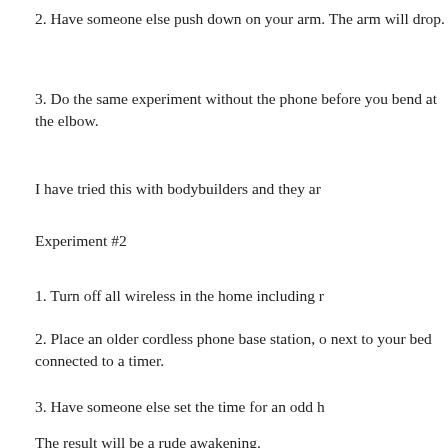2. Have someone else push down on your arm. The arm will drop.
3. Do the same experiment without the phone before you bend at the elbow.
I have tried this with bodybuilders and they ar
Experiment #2
1. Turn off all wireless in the home including r
2. Place an older cordless phone base station, o next to your bed connected to a timer.
3. Have someone else set the time for an odd h
The result will be a rude awakening.